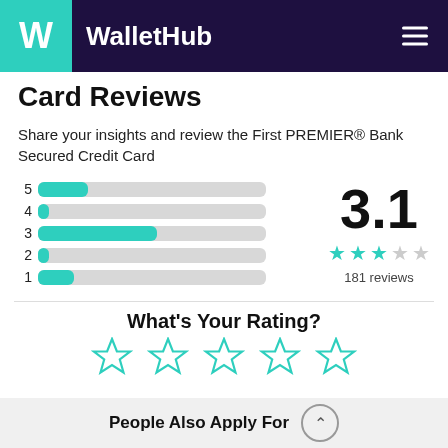WalletHub
Card Reviews
Share your insights and review the First PREMIER® Bank Secured Credit Card
[Figure (bar-chart): Rating distribution]
3.1
181 reviews
What's Your Rating?
People Also Apply For